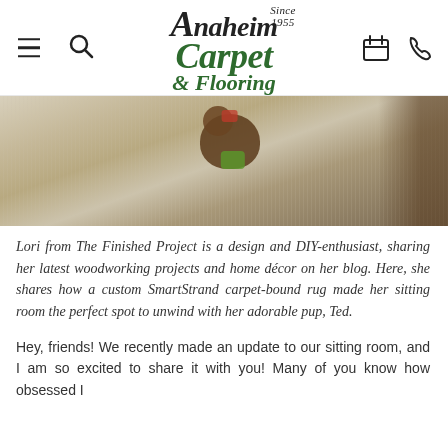Anaheim Carpet & Flooring — Since 1955
[Figure (photo): Photo of a small dog playing on a light-colored carpet or rug in a sitting room setting]
Lori from The Finished Project is a design and DIY-enthusiast, sharing her latest woodworking projects and home décor on her blog. Here, she shares how a custom SmartStrand carpet-bound rug made her sitting room the perfect spot to unwind with her adorable pup, Ted.
Hey, friends! We recently made an update to our sitting room, and I am so excited to share it with you! Many of you know how obsessed I